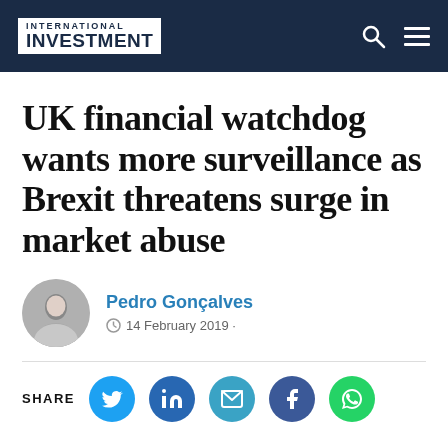INTERNATIONAL INVESTMENT
UK financial watchdog wants more surveillance as Brexit threatens surge in market abuse
Pedro Gonçalves
14 February 2019
SHARE